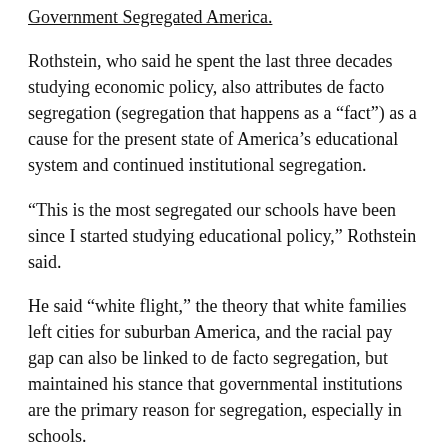Government Segregated America.
Rothstein, who said he spent the last three decades studying economic policy, also attributes de facto segregation (segregation that happens as a “fact”) as a cause for the present state of America’s educational system and continued institutional segregation.
“This is the most segregated our schools have been since I started studying educational policy,” Rothstein said.
He said “white flight,” the theory that white families left cities for suburban America, and the racial pay gap can also be linked to de facto segregation, but maintained his stance that governmental institutions are the primary reason for segregation, especially in schools.